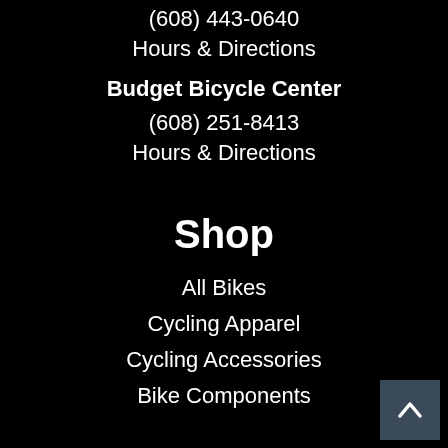(608) 443-0640
Hours & Directions
Budget Bicycle Center
(608) 251-8413
Hours & Directions
Shop
All Bikes
Cycling Apparel
Cycling Accessories
Bike Components
Resources
About Us